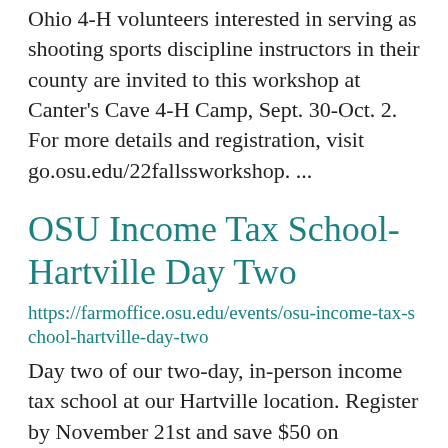Ohio 4-H volunteers interested in serving as shooting sports discipline instructors in their county are invited to this workshop at Canter's Cave 4-H Camp, Sept. 30-Oct. 2. For more details and registration, visit go.osu.edu/22fallssworkshop. ...
OSU Income Tax School- Hartville Day Two
https://farmoffice.osu.edu/events/osu-income-tax-school-hartville-day-two
Day two of our two-day, in-person income tax school at our Hartville location. Register by November 21st and save $50 on registration! ...